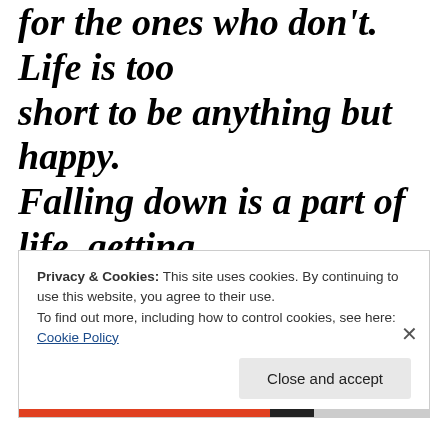for the ones who don't. Life is too short to be anything but happy. Falling down is a part of life, getting back up is living."
Privacy & Cookies: This site uses cookies. By continuing to use this website, you agree to their use. To find out more, including how to control cookies, see here: Cookie Policy